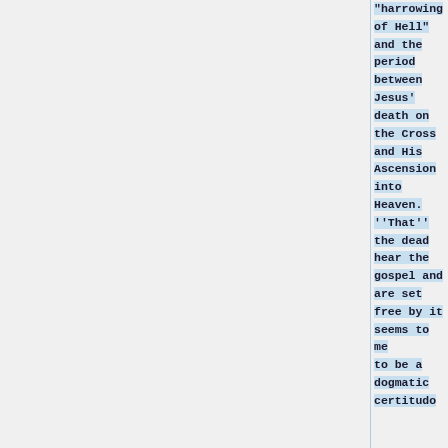"harrowing of Hell" and the period between Jesus' death on the Cross and His Ascension into Heaven. ''That'' the dead hear the gospel and are set free by it seems to me to be a dogmatic certitudo